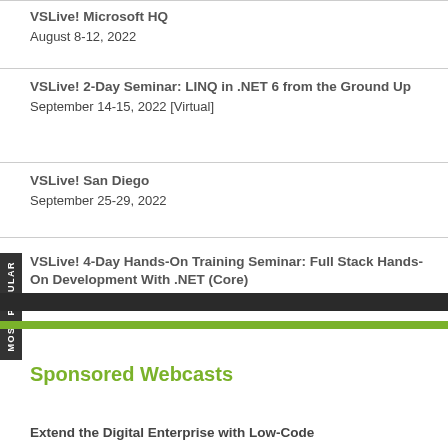VSLive! Microsoft HQ
August 8-12, 2022
VSLive! 2-Day Seminar: LINQ in .NET 6 from the Ground Up
September 14-15, 2022 [Virtual]
VSLive! San Diego
September 25-29, 2022
VSLive! 4-Day Hands-On Training Seminar: Full Stack Hands-On Development With .NET (Core)
December 12-15, 2022 [Virtual]
Sponsored Webcasts
Extend the Digital Enterprise with Low-Code